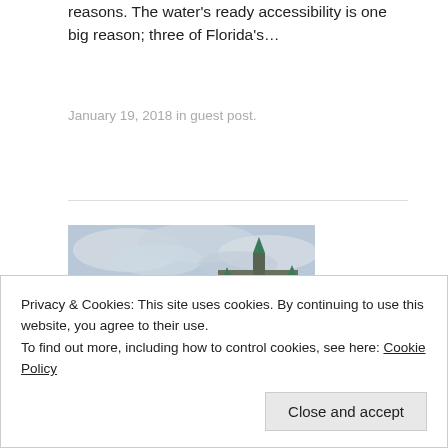reasons. The water's ready accessibility is one big reason; three of Florida's…
January 19, 2018 in guest post.
[Figure (photo): A white river cruise boat on a calm river with dense green trees and a large gothic parliament-style building with green spires in the background under a cloudy grey sky.]
The five best river cruise destinations
Privacy & Cookies: This site uses cookies. By continuing to use this website, you agree to their use.
To find out more, including how to control cookies, see here: Cookie Policy
perfect way to get an intimate view of some of the